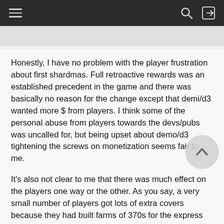Navigation bar with hamburger menu, search icon, and login icon
Honestly, I have no problem with the player frustration about first shardmas. Full retroactive rewards was an established precedent in the game and there was basically no reason for the change except that demi/d3 wanted more $ from players. I think some of the personal abuse from players towards the devs/pubs was uncalled for, but being upset about demo/d3 tightening the screws on monetization seems fair to me.
It's also not clear to me that there was much effect on the players one way or the other. As you say, a very small number of players got lots of extra covers because they had built farms of 370s for the express purpose of getting retroactive rewards.  But so what?